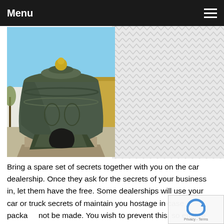Menu
[Figure (photo): Large historic bronze bell (Tsar Bell) on a stone pedestal outdoors, with a blue sky and yellow building in the background. A large broken piece sits at the base of the bell.]
Bring a spare set of secrets together with you on the car dealership. Once they ask for the secrets of your business in, let them have the free. Some dealerships will use your car or truck secrets of maintain you hostage in case a package not be made. You wish to prevent this, so ensure you have the capability to go walking out from the dealership at any